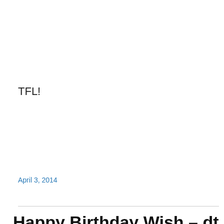TFL!
April 3, 2014
Happy Birthday Wish – dt
Privacy & Cookies: This site uses cookies. By continuing to use this website, you agree to their use.
To find out more, including how to control cookies, see here: Cookie Policy
Close and accept